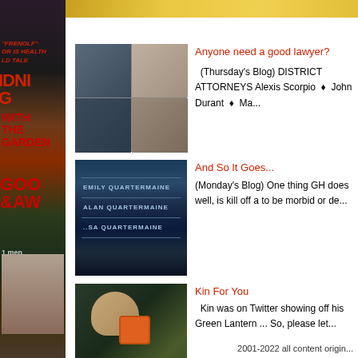[Figure (photo): Left sidebar with magazine covers and entertainment imagery]
[Figure (photo): Top yellow/gold banner strip]
[Figure (photo): Thumbnail collage of actors for 'Anyone need a good lawyer?' blog post]
Anyone need a good lawyer?
(Thursday's Blog) DISTRICT ATTORNEYS Alexis Scorpio ♦ John Durant ♦ Ma...
[Figure (photo): Quartermaine family gravestones image for 'And So It Goes...' blog post]
And So It Goes...
(Monday's Blog) One thing GH does well, is kill off a to be morbid or de...
[Figure (photo): Photo of Kin Shriner holding Green Lantern badge for 'Kin For You' blog post]
Kin For You
Kin was on Twitter showing off his Green Lantern ... So, please let...
2001-2022 all content origin...